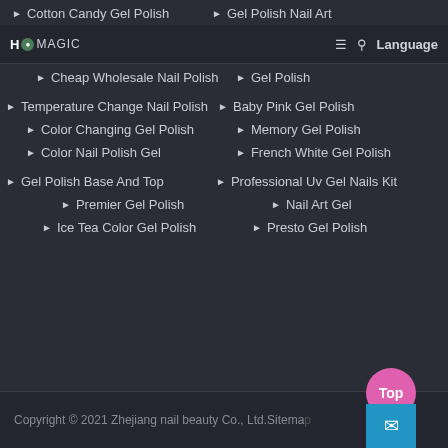▶ Cotton Candy Gel Polish
▶ Gel Polish Nail Art
HO MAGIC  ☰  🔍  Language
▶ Cheap Wholesale Nail Polish
▶ Gel Polish
▶ Temperature Change Nail Polish
▶ Baby Pink Gel Polish
▶ Color Changing Gel Polish
▶ Memory Gel Polish
▶ Color Nail Polish Gel
▶ French White Gel Polish
▶ Gel Polish Base And Top
▶ Professional Uv Gel Nails Kit
▶ Premier Gel Polish
▶ Nail Art Gel
▶ Ice Tea Color Gel Polish
▶ Presto Gel Polish
Copyright © 2021 Zhejiang nail beauty Co., Ltd. Sitemap